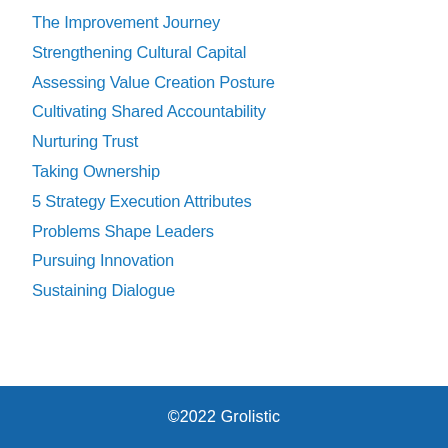The Improvement Journey
Strengthening Cultural Capital
Assessing Value Creation Posture
Cultivating Shared Accountability
Nurturing Trust
Taking Ownership
5 Strategy Execution Attributes
Problems Shape Leaders
Pursuing Innovation
Sustaining Dialogue
©2022 Grolistic